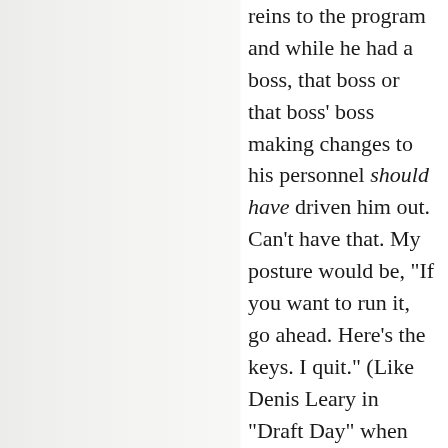reins to the program and while he had a boss, that boss or that boss' boss making changes to his personnel should have driven him out. Can't have that. My posture would be, "If you want to run it, go ahead. Here's the keys. I quit." (Like Denis Leary in "Draft Day" when the